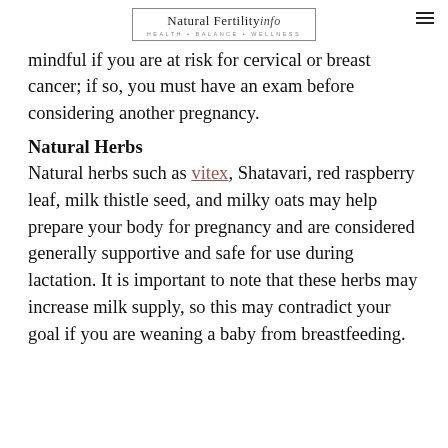Natural Fertility info · HEALTH • BALANCE • WELLNESS
mindful if you are at risk for cervical or breast cancer; if so, you must have an exam before considering another pregnancy.
Natural Herbs
Natural herbs such as vitex, Shatavari, red raspberry leaf, milk thistle seed, and milky oats may help prepare your body for pregnancy and are considered generally supportive and safe for use during lactation. It is important to note that these herbs may increase milk supply, so this may contradict your goal if you are weaning a baby from breastfeeding.